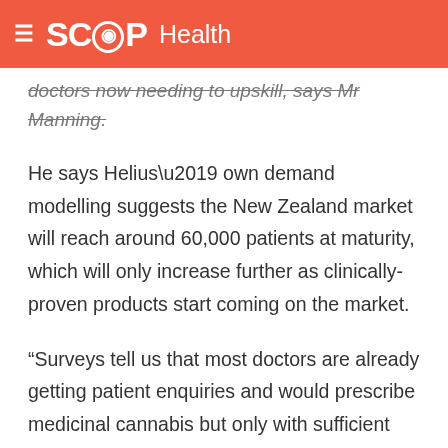SCOOP Health
doctors now needing to upskill, says Mr Manning.
He says Helius’ own demand modelling suggests the New Zealand market will reach around 60,000 patients at maturity, which will only increase further as clinically-proven products start coming on the market.
“Surveys tell us that most doctors are already getting patient enquiries and would prescribe medicinal cannabis but only with sufficient information and evidence. And that’s the key: Doctors want and need to know more,” he says.